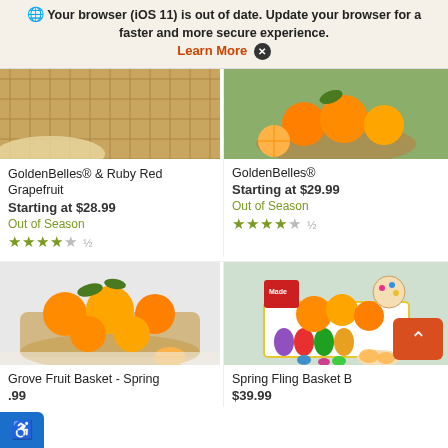Your browser (iOS 11) is out of date. Update your browser for a faster and more secure experience. Learn More X
[Figure (photo): Partial view of a wicker basket with fruit, cropped top portion (left product)]
[Figure (photo): Partial view of a bowl with oranges and fruit, cropped top portion (right product)]
GoldenBelles® & Ruby Red Grapefruit
Starting at $28.99
Out of Season
★★★★½
GoldenBelles®
Starting at $29.99
Out of Season
★★★★½
[Figure (photo): Basket of oranges and citrus fruit on white background - Grove Fruit Basket Spring]
[Figure (photo): Easter-themed basket with oranges, candy, cookies, and spring decorations - Spring Fling Basket]
Grove Fruit Basket - Spring
$.99
Spring Fling Basket B
$39.99